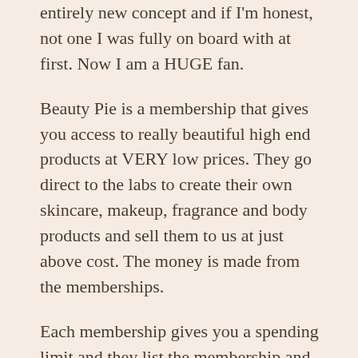entirely new concept and if I'm honest, not one I was fully on board with at first. Now I am a HUGE fan.
Beauty Pie is a membership that gives you access to really beautiful high end products at VERY low prices. They go direct to the labs to create their own skincare, makeup, fragrance and body products and sell them to us at just above cost. The money is made from the memberships.
Each membership gives you a spending limit and they list the membership and non membership prices. The non membership price would be what you would be paying if you were shopping in SpaceNK or John Lewis. My monthly membership is £20 and my spending